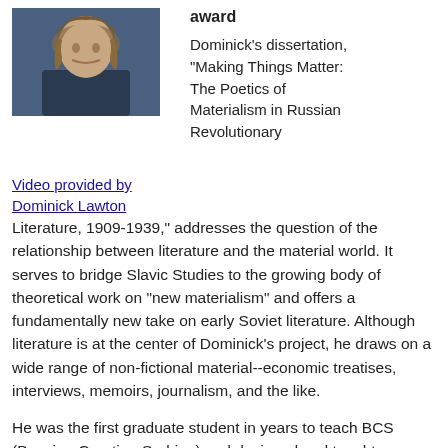[Figure (photo): Photo of Dominick Lawton, a person with long hair and a beard, wearing a dark shirt.]
Video provided by Dominick Lawton
award
Dominick's dissertation, "Making Things Matter: The Poetics of Materialism in Russian Revolutionary Literature, 1909-1939," addresses the question of the relationship between literature and the material world. It serves to bridge Slavic Studies to the growing body of theoretical work on "new materialism" and offers a fundamentally new take on early Soviet literature. Although literature is at the center of Dominick's project, he draws on a wide range of non-fictional material--economic treatises, interviews, memoirs, journalism, and the like.
He was the first graduate student in years to teach BCS (Bosnian-Croatian-Serbian) and designed and taught a range of classes at Cal. His aim is to "build understanding of Slavic culture cultures today and raise the profile of past